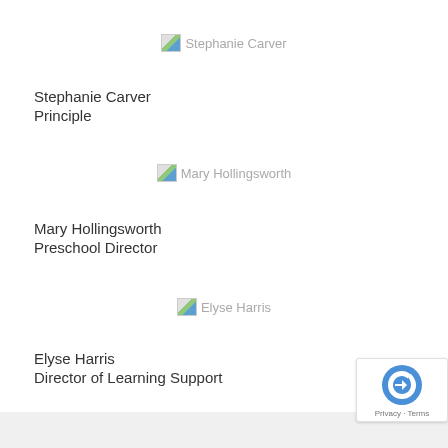[Figure (photo): Broken image placeholder for Stephanie Carver]
Stephanie Carver
Principle
[Figure (photo): Broken image placeholder for Mary Hollingsworth]
Mary Hollingsworth
Preschool Director
[Figure (photo): Broken image placeholder for Elyse Harris]
Elyse Harris
Director of Learning Support